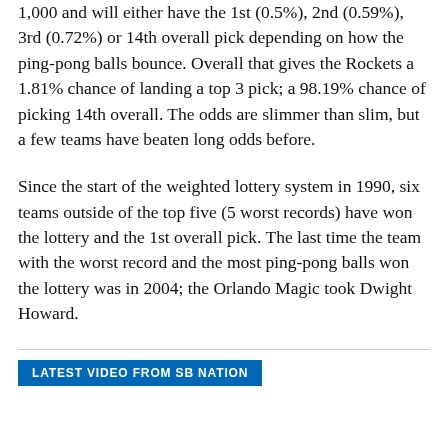1,000 and will either have the 1st (0.5%), 2nd (0.59%), 3rd (0.72%) or 14th overall pick depending on how the ping-pong balls bounce. Overall that gives the Rockets a 1.81% chance of landing a top 3 pick; a 98.19% chance of picking 14th overall. The odds are slimmer than slim, but a few teams have beaten long odds before.
Since the start of the weighted lottery system in 1990, six teams outside of the top five (5 worst records) have won the lottery and the 1st overall pick. The last time the team with the worst record and the most ping-pong balls won the lottery was in 2004; the Orlando Magic took Dwight Howard.
LATEST VIDEO FROM SB NATION